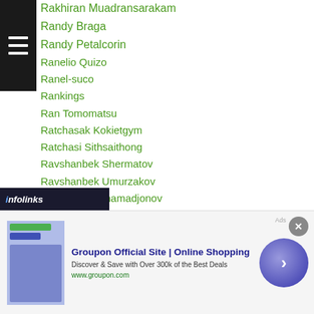Rakhiran Muadransarakam
Randy Braga
Randy Petalcorin
Ranelio Quizo
Ranel-suco
Rankings
Ran Tomomatsu
Ratchasak Kokietgym
Ratchasi Sithsaithong
Ravshanbek Shermatov
Ravshanbek Umurzakov
Ravshan Makhamadjonov
Raymart Gaballo
Raymond Poon KaiChing
Raymond Tabugon
Raymundo Beltran
[Figure (other): Advertisement banner for Groupon Official Site with infolinks overlay]